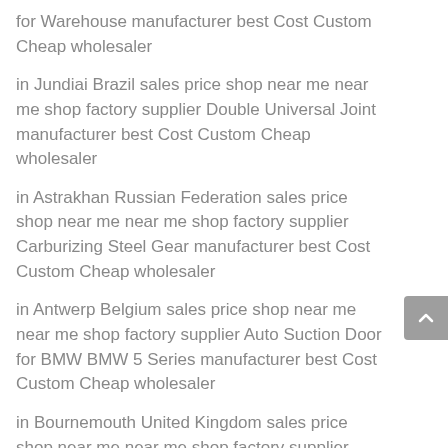for Warehouse manufacturer best Cost Custom Cheap wholesaler
in Jundiai Brazil sales price shop near me near me shop factory supplier Double Universal Joint manufacturer best Cost Custom Cheap wholesaler
in Astrakhan Russian Federation sales price shop near me near me shop factory supplier Carburizing Steel Gear manufacturer best Cost Custom Cheap wholesaler
in Antwerp Belgium sales price shop near me near me shop factory supplier Auto Suction Door for BMW BMW 5 Series manufacturer best Cost Custom Cheap wholesaler
in Bournemouth United Kingdom sales price shop near me near me shop factory supplier Helical Spiral Pinion Bevel Gears for Auto Spare Parts manufacturer best Cost Custom Cheap wholesaler